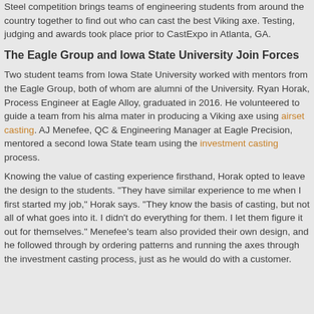Steel competition brings teams of engineering students from around the country together to find out who can cast the best Viking axe. Testing, judging and awards took place prior to CastExpo in Atlanta, GA.
The Eagle Group and Iowa State University Join Forces
Two student teams from Iowa State University worked with mentors from the Eagle Group, both of whom are alumni of the University. Ryan Horak, Process Engineer at Eagle Alloy, graduated in 2016. He volunteered to guide a team from his alma mater in producing a Viking axe using airset casting. AJ Menefee, QC & Engineering Manager at Eagle Precision, mentored a second Iowa State team using the investment casting process.
Knowing the value of casting experience firsthand, Horak opted to leave the design to the students. "They have similar experience to me when I first started my job," Horak says. "They know the basis of casting, but not all of what goes into it. I didn't do everything for them. I let them figure it out for themselves." Menefee's team also provided their own design, and he followed through by ordering patterns and running the axes through the investment casting process, just as he would do with a customer.